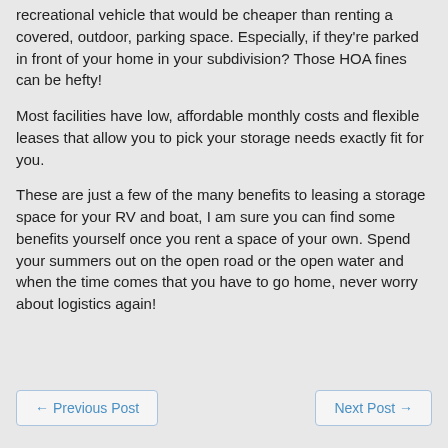recreational vehicle that would be cheaper than renting a covered, outdoor, parking space. Especially, if they're parked in front of your home in your subdivision? Those HOA fines can be hefty!
Most facilities have low, affordable monthly costs and flexible leases that allow you to pick your storage needs exactly fit for you.
These are just a few of the many benefits to leasing a storage space for your RV and boat, I am sure you can find some benefits yourself once you rent a space of your own. Spend your summers out on the open road or the open water and when the time comes that you have to go home, never worry about logistics again!
← Previous Post    Next Post →